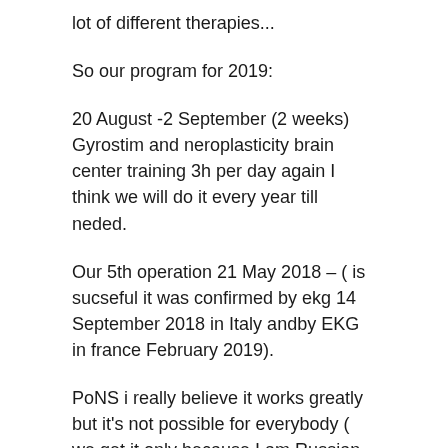lot of different therapies...
So our program for 2019:
20 August -2 September (2 weeks) Gyrostim and neroplasticity brain center training 3h per day again I think we will do it every year till neded.
Our 5th operation 21 May 2018 – ( is sucseful it was confirmed by ekg 14 September 2018 in Italy andby EKG in france February 2019).
PoNS i really believe it works greatly but it's not possible for everybody ( we get it only because I am Russian origins... it's the only way in Russia as I said they did clinical trail for CP children's)....
So yes again Hbot : I will start soft hbot at home this